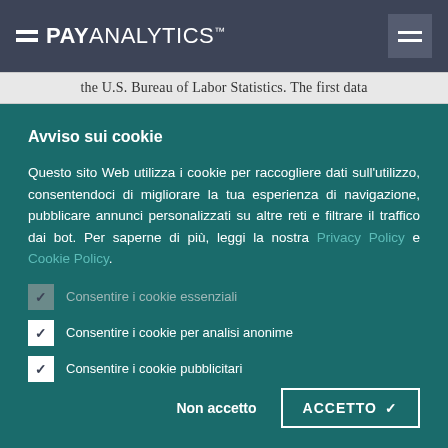PAY ANALYTICS™
the U.S. Bureau of Labor Statistics. The first data
Avviso sui cookie
Questo sito Web utilizza i cookie per raccogliere dati sull'utilizzo, consentendoci di migliorare la tua esperienza di navigazione, pubblicare annunci personalizzati su altre reti e filtrare il traffico dai bot. Per saperne di più, leggi la nostra Privacy Policy e Cookie Policy.
✓ Consentire i cookie essenziali
✓ Consentire i cookie per analisi anonime
✓ Consentire i cookie pubblicitari
Non accetto    ACCETTO ✓